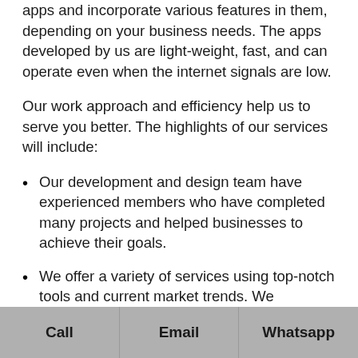apps and incorporate various features in them, depending on your business needs. The apps developed by us are light-weight, fast, and can operate even when the internet signals are low.
Our work approach and efficiency help us to serve you better. The highlights of our services will include:
Our development and design team have experienced members who have completed many projects and helped businesses to achieve their goals.
We offer a variety of services using top-notch tools and current market trends. We
Call | Email | Whatsapp